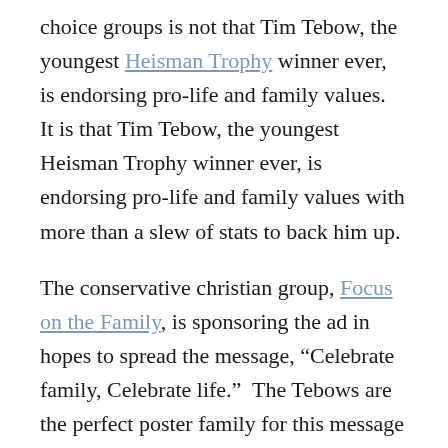choice groups is not that Tim Tebow, the youngest Heisman Trophy winner ever, is endorsing pro-life and family values.  It is that Tim Tebow, the youngest Heisman Trophy winner ever, is endorsing pro-life and family values with more than a slew of stats to back him up.
The conservative christian group, Focus on the Family, is sponsoring the ad in hopes to spread the message, “Celebrate family, Celebrate life.”  The Tebows are the perfect poster family for this message seeing as Tim Tebow would not be here today if his mother, Pam, had followed doctor recommendations and gotten an abortion because her pregnancy with Tim was high-risk.  The ad does not mention abortion, although the